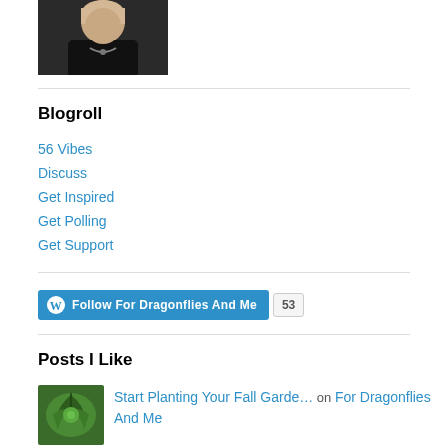[Figure (photo): Cropped profile photo of a woman with blonde hair wearing black, partially visible at top of page]
Blogroll
56 Vibes
Discuss
Get Inspired
Get Polling
Get Support
[Figure (other): WordPress Follow button for 'For Dragonflies And Me' with follower count of 53]
Posts I Like
[Figure (photo): Thumbnail image of green plant/succulent]
Start Planting Your Fall Garde… on For Dragonflies And Me